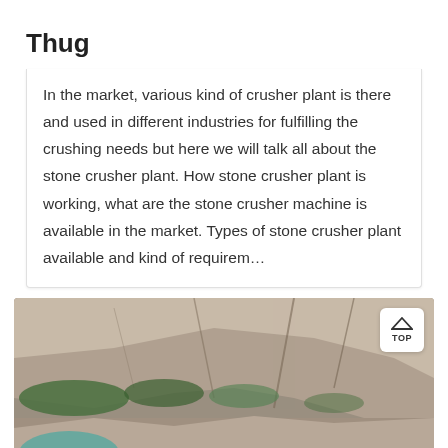Thug
In the market, various kind of crusher plant is there and used in different industries for fulfilling the crushing needs but here we will talk all about the stone crusher plant. How stone crusher plant is working, what are the stone crusher machine is available in the market. Types of stone crusher plant available and kind of requirem…
[Figure (photo): Rock quarry / stone crusher site showing large exposed rock face with green vegetation, rubble at base, and cable/wire strands in foreground]
Message
Online Chat